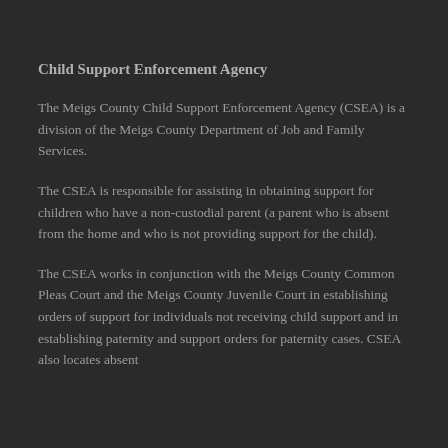Child Support Enforcement Agency
The Meigs County Child Support Enforcement Agency (CSEA) is a division of the Meigs County Department of Job and Family Services.
The CSEA is responsible for assisting in obtaining support for children who have a non-custodial parent (a parent who is absent from the home and who is not providing support for the child).
The CSEA works in conjunction with the Meigs County Common Pleas Court and the Meigs County Juvenile Court in establishing orders of support for individuals not receiving child support and in establishing paternity and support orders for paternity cases. CSEA also locates absent